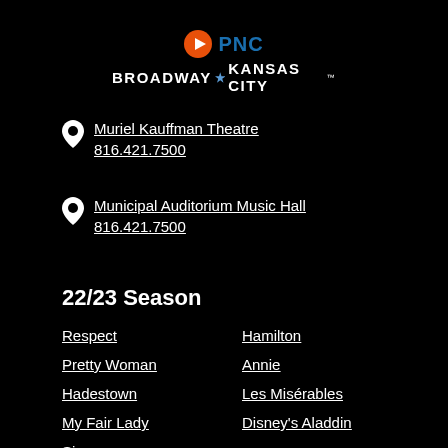[Figure (logo): PNC Broadway Kansas City logo with orange play-button icon, blue PNC text, and white Broadway Kansas City text with star]
Muriel Kauffman Theatre
816.421.7500
Municipal Auditorium Music Hall
816.421.7500
22/23 Season
Respect
Hamilton
Pretty Woman
Annie
Hadestown
Les Misérables
My Fair Lady
Disney's Aladdin
Six